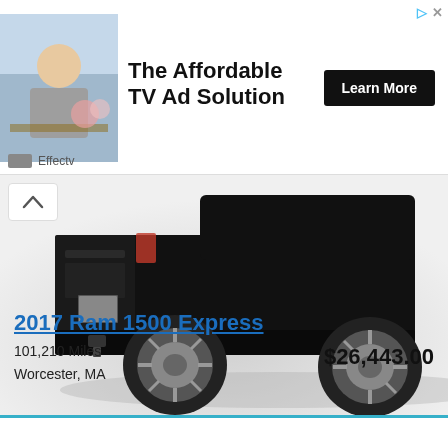[Figure (illustration): Advertisement banner: woman sitting at a table smiling, with text 'The Affordable TV Ad Solution' and a 'Learn More' button, branded as Effectv]
[Figure (photo): Rear three-quarter view of a black 2017 Ram 1500 Express pickup truck on a white/grey background]
2017 Ram 1500 Express
101,210 Miles
Worcester, MA
$26,443.00